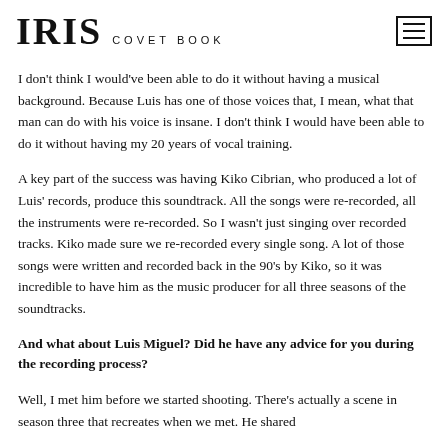IRIS COVET BOOK
I don't think I would've been able to do it without having a musical background. Because Luis has one of those voices that, I mean, what that man can do with his voice is insane. I don't think I would have been able to do it without having my 20 years of vocal training.
A key part of the success was having Kiko Cibrian, who produced a lot of Luis' records, produce this soundtrack. All the songs were re-recorded, all the instruments were re-recorded. So I wasn't just singing over recorded tracks. Kiko made sure we re-recorded every single song. A lot of those songs were written and recorded back in the 90's by Kiko, so it was incredible to have him as the music producer for all three seasons of the soundtracks.
And what about Luis Miguel? Did he have any advice for you during the recording process?
Well, I met him before we started shooting. There's actually a scene in season three that recreates when we met. He shared